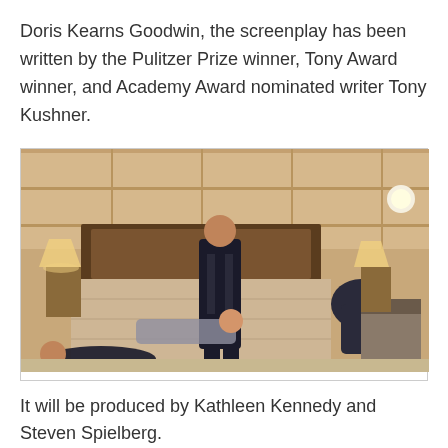Doris Kearns Goodwin, the screenplay has been written by the Pulitzer Prize winner, Tony Award winner, and Academy Award nominated writer Tony Kushner.
[Figure (photo): A man in a dark suit stands in a hotel room while several other people are slumped or laying on/around a bed and chair, appearing unconscious.]
It will be produced by Kathleen Kennedy and Steven Spielberg.
The film will focus on the political collision of Lincoln and the powerful men of his cabinet on the road to abolition and the end of the Civil